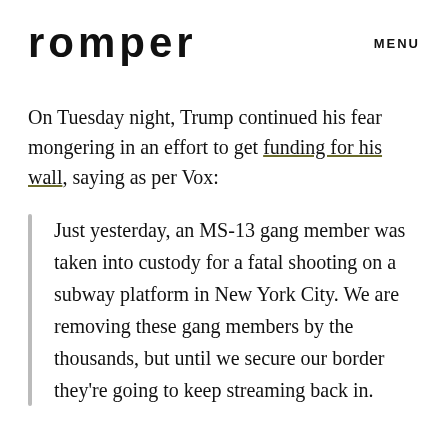romper   MENU
On Tuesday night, Trump continued his fear mongering in an effort to get funding for his wall, saying as per Vox:
Just yesterday, an MS-13 gang member was taken into custody for a fatal shooting on a subway platform in New York City. We are removing these gang members by the thousands, but until we secure our border they're going to keep streaming back in.